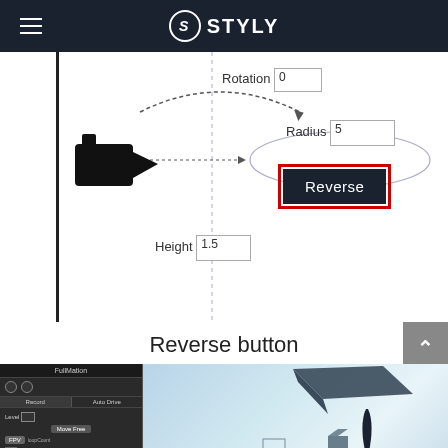STYLY
[Figure (screenshot): STYLY editor interface showing camera animation path with Rotation 0, Radius 5, Reverse button highlighted with red border, Height 1.5 fields]
Reverse button
[Figure (screenshot): STYLY editor bottom panel showing node-based animation editor on left and 3D scene with floating geometric shapes on right]